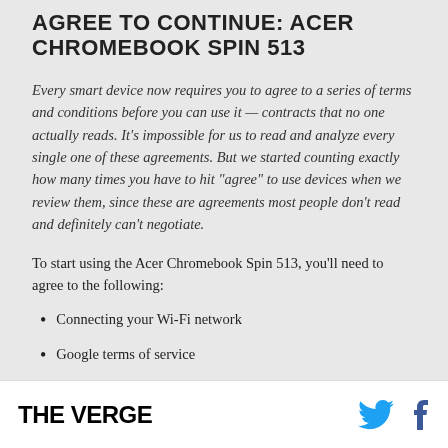AGREE TO CONTINUE: ACER CHROMEBOOK SPIN 513
Every smart device now requires you to agree to a series of terms and conditions before you can use it — contracts that no one actually reads. It's impossible for us to read and analyze every single one of these agreements. But we started counting exactly how many times you have to hit “agree” to use devices when we review them, since these are agreements most people don’t read and definitely can’t negotiate.
To start using the Acer Chromebook Spin 513, you'll need to agree to the following:
Connecting your Wi-Fi network
Google terms of service
THE VERGE